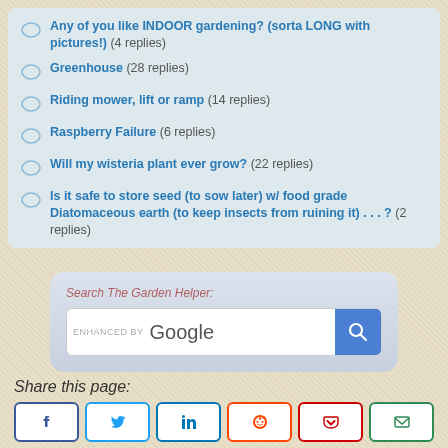Any of you like INDOOR gardening? (sorta LONG with pictures!)  (4 replies)
Greenhouse  (28 replies)
Riding mower, lift or ramp  (14 replies)
Raspberry Failure  (6 replies)
Will my wisteria plant ever grow?  (22 replies)
Is it safe to store seed (to sow later) w/ food grade Diatomaceous earth (to keep insects from ruining it) . . . ?  (2 replies)
[Figure (screenshot): Search The Garden Helper: Google custom search box with blue search button]
Share this page:
[Figure (infographic): Social share buttons: Facebook, Twitter, LinkedIn, Reddit, Pocket, Email]